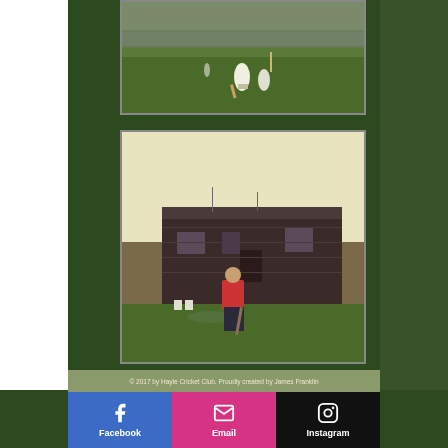[Figure (photo): Vintage cricket match photo showing players on a green field with water/estuary visible in background]
[Figure (photo): Vintage photo of a cricket player in red shirt standing on grass in front of an old dark pavilion/clubhouse building]
© 2017 by Hayle Cricket Club. Proudly created by James Franklin
Facebook
Email
Instagram